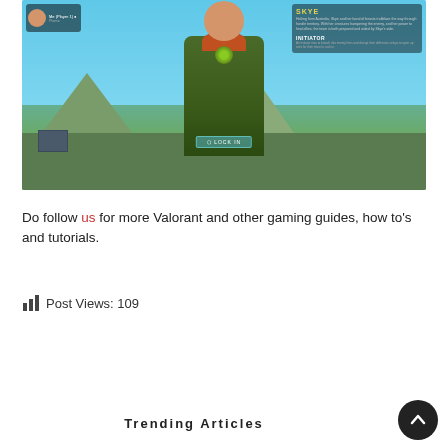[Figure (screenshot): Valorant game screenshot showing character selection screen with a female agent in green armor with red hair, mountains in background, LOCK IN button visible, player HUD with name 'Me (Player 1)', agent info panel on right showing INITIATOR role]
Do follow us for more Valorant and other gaming guides, how to's and tutorials.
Post Views: 109
Trending Articles